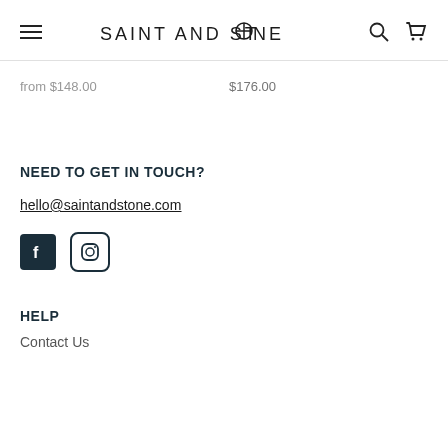SAINT AND ST⊕NE
from $148.00
$176.00
NEED TO GET IN TOUCH?
hello@saintandstone.com
[Figure (logo): Facebook and Instagram social media icons]
HELP
Contact Us